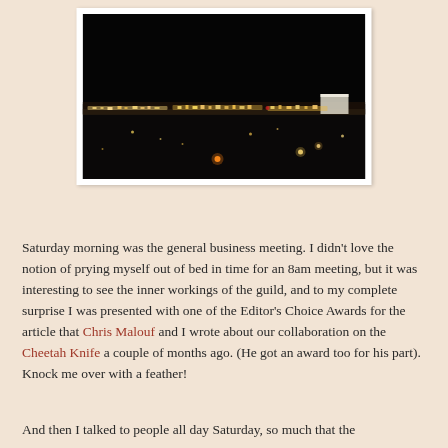[Figure (photo): A nighttime cityscape photograph showing city lights on the horizon against a dark sky, with scattered bright lights below.]
Saturday morning was the general business meeting. I didn't love the notion of prying myself out of bed in time for an 8am meeting, but it was interesting to see the inner workings of the guild, and to my complete surprise I was presented with one of the Editor's Choice Awards for the article that Chris Malouf and I wrote about our collaboration on the Cheetah Knife a couple of months ago. (He got an award too for his part). Knock me over with a feather!
And then I talked to people all day Saturday, so much that the